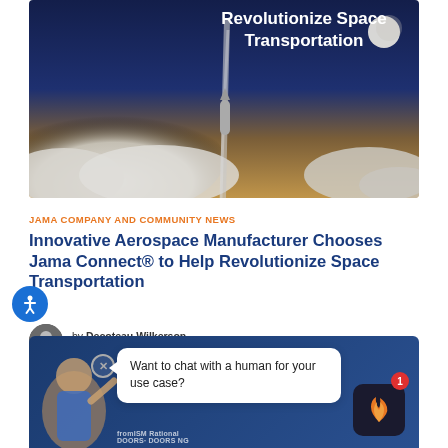[Figure (illustration): Hero image showing a rocket launching with dramatic cloud formations, a moon visible in the upper right, and overlay text 'Revolutionize Space Transportation' in white.]
JAMA COMPANY AND COMMUNITY NEWS
Innovative Aerospace Manufacturer Chooses Jama Connect® to Help Revolutionize Space Transportation
by Decoteau Wilkerson on August 16, 2022 - Reading Time 4 min
Read more
[Figure (screenshot): Chat widget at bottom of page showing a person illustration, a close button, a speech bubble saying 'Want to chat with a human for your use case?', and a Jama logo icon with a red notification badge showing '1'.]